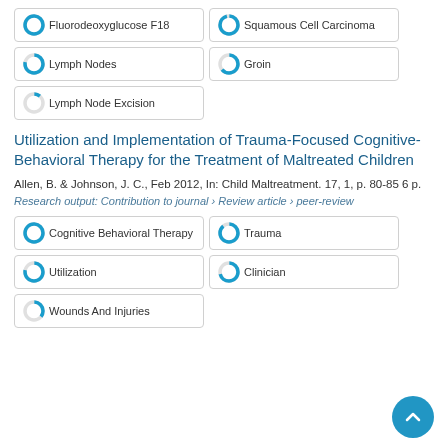Fluorodeoxyglucose F18
Squamous Cell Carcinoma
Lymph Nodes
Groin
Lymph Node Excision
Utilization and Implementation of Trauma-Focused Cognitive-Behavioral Therapy for the Treatment of Maltreated Children
Allen, B. & Johnson, J. C., Feb 2012, In: Child Maltreatment. 17, 1, p. 80-85 6 p.
Research output: Contribution to journal › Review article › peer-review
Cognitive Behavioral Therapy
Trauma
Utilization
Clinician
Wounds And Injuries